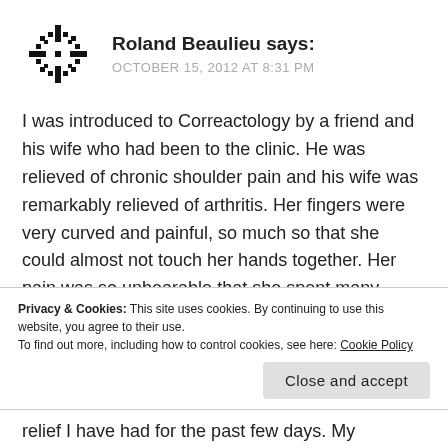[Figure (illustration): A decorative avatar icon — black snowflake-like pattern on white background]
Roland Beaulieu says:
OCTOBER 15, 2012 AT 8:31 PM
I was introduced to Correactology by a friend and his wife who had been to the clinic. He was relieved of chronic shoulder pain and his wife was remarkably relieved of arthritis. Her fingers were very curved and painful, so much so that she could almost not touch her hands together. Her pain was so unbearable that she spent many nights sitting in a chair, not being able to lie down to sleep. Today, you would not
Privacy & Cookies: This site uses cookies. By continuing to use this website, you agree to their use.
To find out more, including how to control cookies, see here: Cookie Policy
Close and accept
relief I have had for the past few days. My